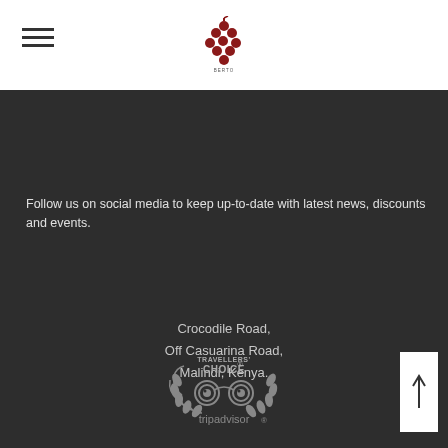[Figure (logo): Restaurant or venue logo with grape/berry cluster icon in dark red with text below]
Follow us on social media to keep up-to-date with latest news, discounts and events.
Crocodile Road,
Off Casuarina Road,
Malindi, Kenya.
[Figure (logo): TripAdvisor Travellers' Choice badge in grey/silver tones with owl icon]
[Figure (other): Back to top arrow button (white rectangle with upward arrow)]